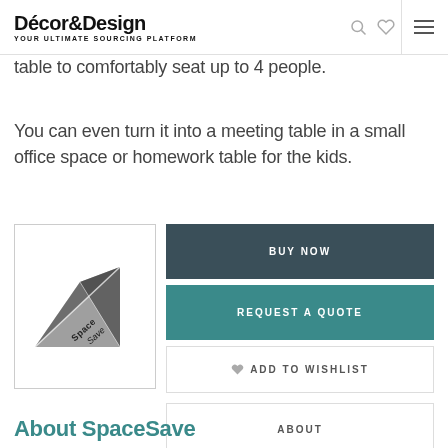Décor&Design — Your Ultimate Sourcing Platform
table to comfortably seat up to 4 people.
You can even turn it into a meeting table in a small office space or homework table for the kids.
[Figure (logo): SpaceSave logo: geometric triangular prism shape in grey/dark grey with 'SpaceSave' text written diagonally]
BUY NOW
REQUEST A QUOTE
ADD TO WISHLIST
ABOUT
About SpaceSave